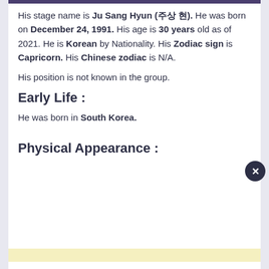His stage name is Ju Sang Hyun (주상현). He was born on December 24, 1991. His age is 30 years old as of 2021. He is Korean by Nationality. His Zodiac sign is Capricorn. His Chinese zodiac is N/A.
His position is not known in the group.
Early Life :
He was born in South Korea.
Physical Appearance :